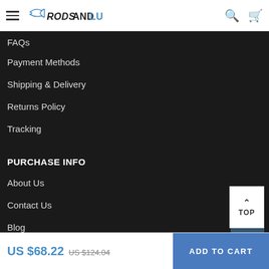Rods and Lures - Navigation header with hamburger menu, logo, search and cart icons
FAQs
Payment Methods
Shipping & Delivery
Returns Policy
Tracking
PURCHASE INFO
About Us
Contact Us
Blog
Privacy Policy
US $68.22  US $124.04  ADD TO CART